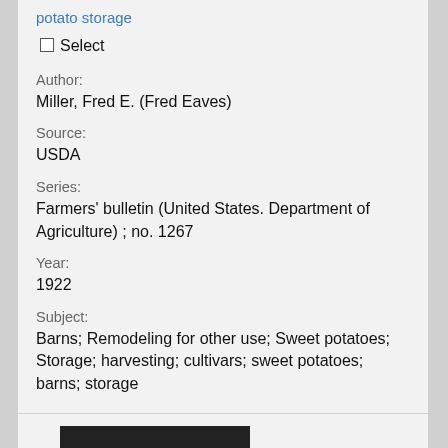potato storage
☐ Select
Author:
Miller, Fred E. (Fred Eaves)
Source:
USDA
Series:
Farmers' bulletin (United States. Department of Agriculture) ; no. 1267
Year:
1922
Subject:
Barns; Remodeling for other use; Sweet potatoes; Storage; harvesting; cultivars; sweet potatoes; barns; storage
[Figure (photo): Partial view of a document thumbnail image at the bottom of the page]